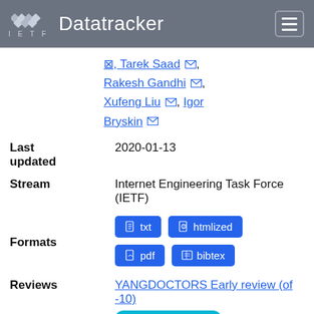IETF Datatracker
⊠, Tarek Saad ⊠, Rakesh Gandhi ⊠, Xufeng Liu ⊠, Igor Bryskin ⊠
| Last updated | 2020-01-13 |
| Stream | Internet Engineering Task Force (IETF) |
| Formats | txt  htmllized  pdf  bibtex |
| Reviews | YANGDOCTORS Early review (of -10) — On the Right Track |
Stream   WG state   WG Document